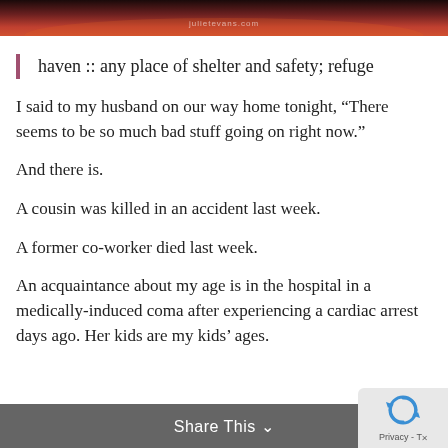[Figure (photo): Dark reddish-orange sunset or landscape photo banner at top of page, with small watermark text 'julietevans.com']
haven :: any place of shelter and safety; refuge
I said to my husband on our way home tonight, “There seems to be so much bad stuff going on right now.”
And there is.
A cousin was killed in an accident last week.
A former co-worker died last week.
An acquaintance about my age is in the hospital in a medically-induced coma after experiencing a cardiac arrest days ago. Her kids are my kids’ ages.
Share This ∨